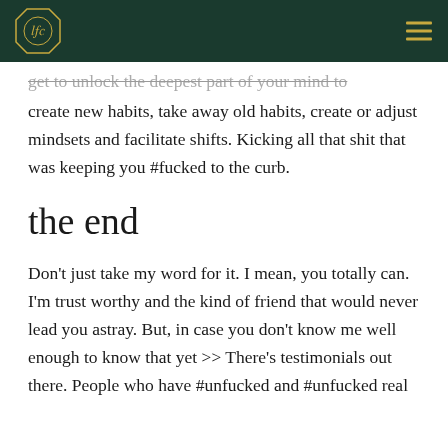get to unlock the deepest part of your mind to create new habits, take away old habits, create or adjust mindsets and facilitate shifts. Kicking all that shit that was keeping you #fucked to the curb.
the end
Don't just take my word for it. I mean, you totally can. I'm trust worthy and the kind of friend that would never lead you astray. But, in case you don't know me well enough to know that yet >> There's testimonials out there. People who have #unfucked and #unfucked real